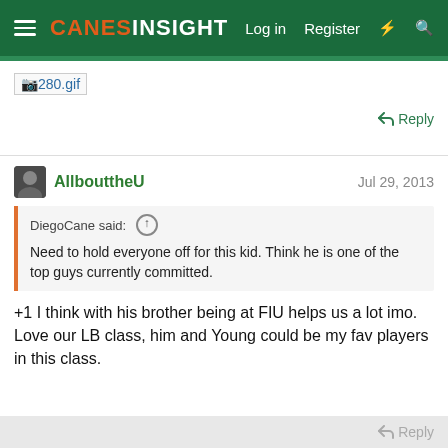CanesInsight — Log in  Register
[Figure (other): Broken image placeholder showing '280.gif']
Reply
AllbouttheU   Jul 29, 2013
DiegoCane said: ↑
Need to hold everyone off for this kid. Think he is one of the top guys currently committed.
+1 I think with his brother being at FIU helps us a lot imo. Love our LB class, him and Young could be my fav players in this class.
Reply